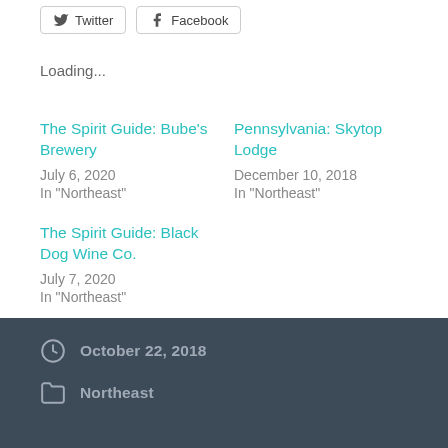[Figure (other): Social share buttons: Twitter and Facebook]
Loading...
The Spirit Guide: Bube's Brewery
July 6, 2020
In "Northeast"
Pennsylvania: Skytop Lodge
December 10, 2018
In "Northeast"
The Spirit Guide: Black Dog Wine Co.
July 7, 2020
In "Northeast"
October 22, 2018
Northeast